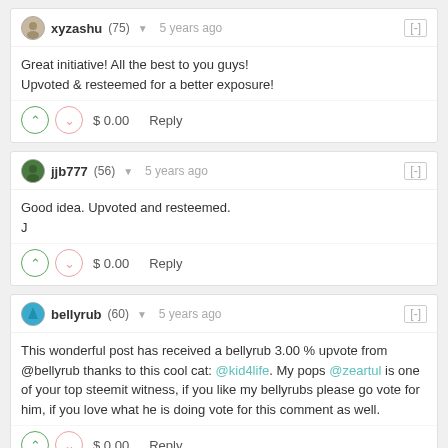xyzashu (75) ▼  5 years ago  [-]
Great initiative! All the best to you guys!
Upvoted & resteemed for a better exposure!
$ 0.00   Reply
jjb777 (56) ▼  5 years ago  [-]
Good idea. Upvoted and resteemed.
J
$ 0.00   Reply
bellyrub (60) ▼  5 years ago  [-]
This wonderful post has received a bellyrub 3.00 % upvote from @bellyrub thanks to this cool cat: @kid4life. My pops @zeartul is one of your top steemit witness, if you like my bellyrubs please go vote for him, if you love what he is doing vote for this comment as well.
$ 0.00   Reply